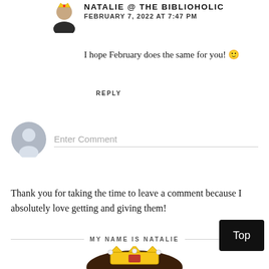[Figure (illustration): Small circular avatar of Natalie with crown icon in top-left corner of comment]
NATALIE @ THE BIBLIOHOLIC
FEBRUARY 7, 2022 AT 7:47 PM
I hope February does the same for you! 🙂
REPLY
[Figure (illustration): Gray placeholder avatar circle for comment input]
Enter Comment
Thank you for taking the time to leave a comment because I absolutely love getting and giving them!
MY NAME IS NATALIE
[Figure (illustration): Illustration of a woman with long dark hair wearing a golden crown with a red jewel]
Top